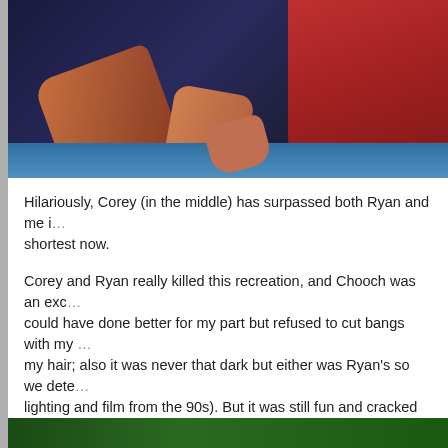[Figure (photo): Top portion of a photo showing people, cropped. Dark background with orange/skin-toned arms visible, red sleeve on right, blue surface at bottom.]
Hilariously, Corey (in the middle) has surpassed both Ryan and me i... shortest now.
Corey and Ryan really killed this recreation, and Chooch was an exc... could have done better for my part but refused to cut bangs with my ... my hair; also it was never that dark but either was Ryan's so we dete... lighting and film from the 90s). But it was still fun and cracked us up ...
Chooch, who is usually incredibly rude and brutally honest to me, loo... said, "That looks NOTHING like you." OMG thank you, son!
The one I'm really pushing to recreate is this one which requires us t... want to do it:
[Figure (photo): Bottom portion of another photo, cropped — green foliage visible.]